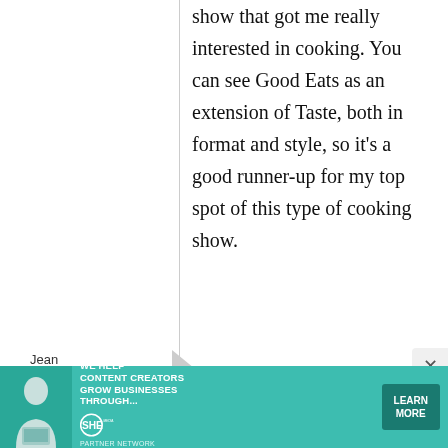show that got me really interested in cooking. You can see Good Eats as an extension of Taste, both in format and style, so it's a good runner-up for my top spot of this type of cooking show.
Jean
19
Re: The
[Figure (infographic): Advertisement banner for SHE Partner Network. Teal/turquoise background with a photo of a woman with a laptop. Text reads: WE HELP CONTENT CREATORS GROW BUSINESSES THROUGH... with SHE Partner Network logo and LEARN MORE button.]